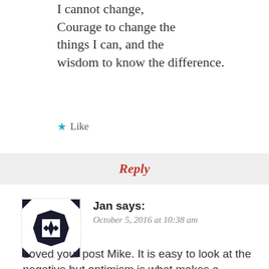I cannot change, Courage to change the things I can, and the wisdom to know the difference.
★ Like
Reply
Jan says:
October 5, 2016 at 10:38 am
[Figure (illustration): Geometric black and white avatar icon with diamond and triangle pattern]
Loved your post Mike. It is easy to look at the negative but optimism is what makes a wonderful day. I had a colleague once who was a counsellor and he talked about making choices when life presents challenges – he said you can